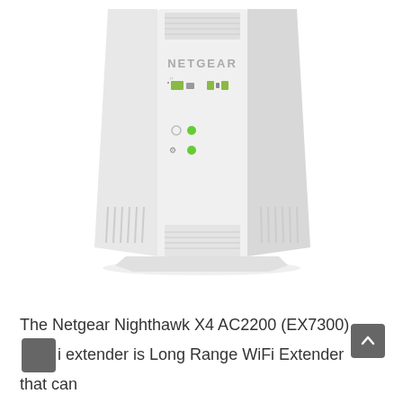[Figure (photo): Photo of a white NETGEAR Nighthawk X4 AC2200 (EX7300) WiFi range extender device, tower form factor, with NETGEAR branding visible on the front face, small LED indicators and port icons on the front panel, ventilation grilles on sides.]
The Netgear Nighthawk X4 AC2200 (EX7300) Wi‑Fi extender is Long Range WiFi Extender that can